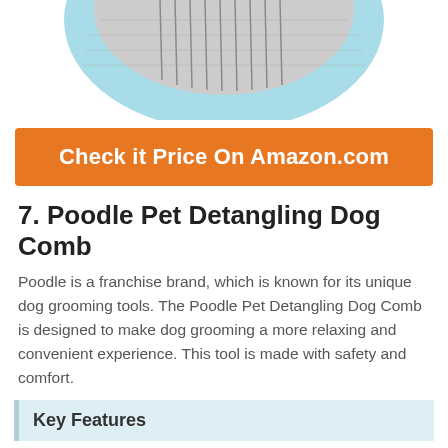[Figure (photo): Partial top view of a light blue pet grooming comb/brush product with metal tines, cropped at top of page]
Check it Price On Amazon.com
7. Poodle Pet Detangling Dog Comb
Poodle is a franchise brand, which is known for its unique dog grooming tools. The Poodle Pet Detangling Dog Comb is designed to make dog grooming a more relaxing and convenient experience. This tool is made with safety and comfort.
Key Features
♥ Work for all dog sizes with various hair types, as well as work great as a brush for German Shepherds.